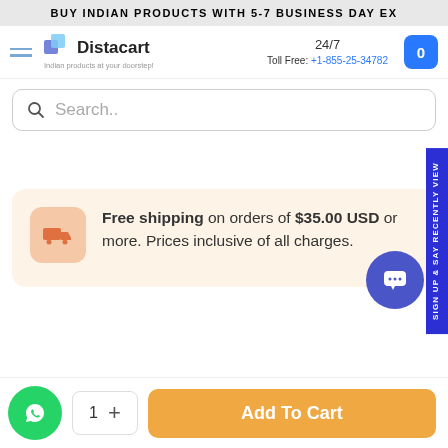BUY INDIAN PRODUCTS WITH 5-7 BUSINESS DAY EX
[Figure (logo): Distacart logo with shopping bag icon and tagline 'Indian products at your doorstep!']
24/7 Toll Free: +1-855-25-34782
Search..
Free shipping on orders of $35.00 USD or more. Prices inclusive of all charges.
Sign up & say RECENTLY VIEW
1  +  Add To Cart